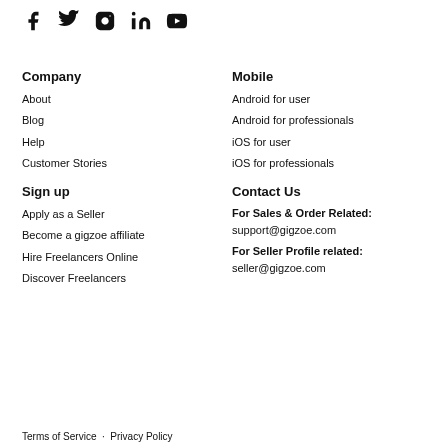[Figure (illustration): Social media icons: Facebook, Twitter, Instagram, LinkedIn, YouTube]
Company
About
Blog
Help
Customer Stories
Sign up
Apply as a Seller
Become a gigzoe affiliate
Hire Freelancers Online
Discover Freelancers
Mobile
Android for user
Android for professionals
iOS for user
iOS for professionals
Contact Us
For Sales & Order Related: support@gigzoe.com
For Seller Profile related: seller@gigzoe.com
Terms of Service · Privacy Policy